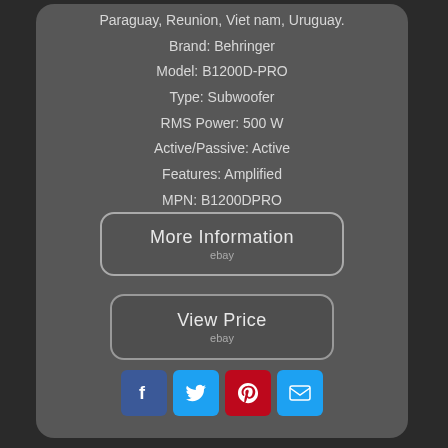Paraguay, Reunion, Viet nam, Uruguay.
Brand: Behringer
Model: B1200D-PRO
Type: Subwoofer
RMS Power: 500 W
Active/Passive: Active
Features: Amplified
MPN: B1200DPRO
[Figure (other): More Information button with ebay logo]
[Figure (other): View Price button with ebay logo]
[Figure (other): Social sharing icons: Facebook, Twitter, Pinterest, Email]